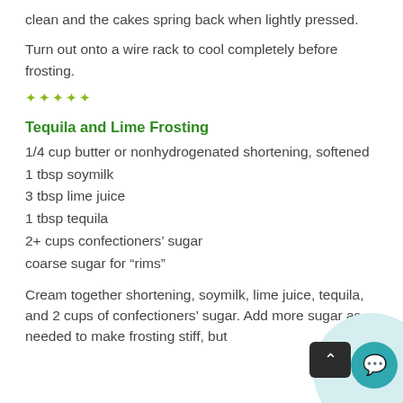clean and the cakes spring back when lightly pressed.
Turn out onto a wire rack to cool completely before frosting.
✦✦✦✦✦
Tequila and Lime Frosting
1/4 cup butter or nonhydrogenated shortening, softened
1 tbsp soymilk
3 tbsp lime juice
1 tbsp tequila
2+ cups confectioners' sugar
coarse sugar for “rims”
Cream together shortening, soymilk, lime juice, tequila, and 2 cups of confectioners' sugar. Add more sugar as needed to make frosting stiff, but